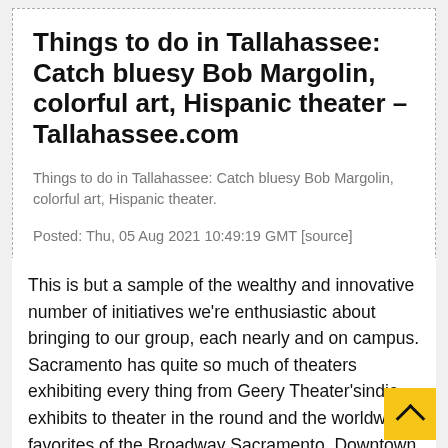Things to do in Tallahassee: Catch bluesy Bob Margolin, colorful art, Hispanic theater – Tallahassee.com
Things to do in Tallahassee: Catch bluesy Bob Margolin, colorful art, Hispanic theater.
Posted: Thu, 05 Aug 2021 10:49:19 GMT [source]
This is but a sample of the wealthy and innovative number of initiatives we're enthusiastic about bringing to our group, each nearly and on campus. Sacramento has quite so much of theaters exhibiting every thing from Geery Theater'sindie exhibits to theater in the round and the worldwide favorites of the Broadway Sacramento. Downtown is house to the Wells Fargo Pavilion and the SAFE Credit Union Performing Arts Center, which provides